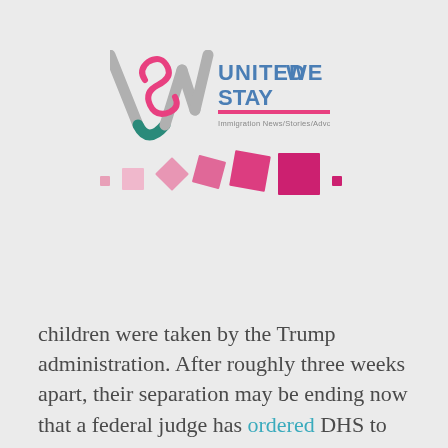[Figure (logo): United We Stay logo with stylized USW letters and tagline 'Immigration News/Stories/Advocacy', with decorative pink/magenta squares below]
children were taken by the Trump administration. After roughly three weeks apart, their separation may be ending now that a federal judge has ordered DHS to